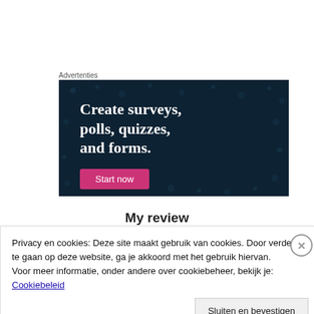Advertenties
[Figure (screenshot): Dark navy blue advertisement banner with white serif bold text reading 'Create surveys, polls, quizzes, and forms.' and a pink/magenta 'Start now' button at the bottom left.]
My review
Privacy en cookies: Deze site maakt gebruik van cookies. Door verder te gaan op deze website, ga je akkoord met het gebruik hiervan. Voor meer informatie, onder andere over cookiebeheer, bekijk je: Cookiebeleid
Sluiten en bevestigen